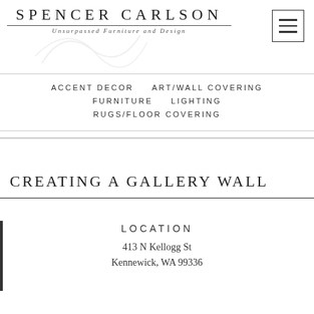SPENCER CARLSON
Unsurpassed Furniture and Design
ACCENT DECOR
ART/WALL COVERING
FURNITURE
LIGHTING
RUGS/FLOOR COVERING
CREATING A GALLERY WALL
LOCATION
413 N Kellogg St
Kennewick, WA 99336